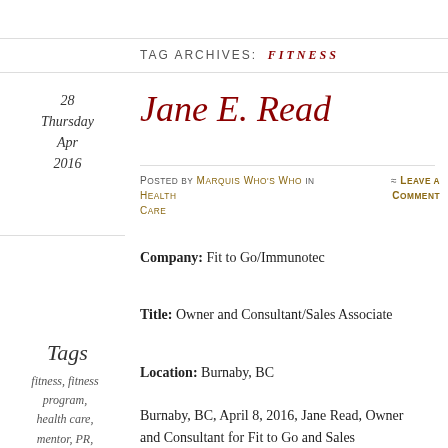TAG ARCHIVES: FITNESS
Jane E. Read
Posted by Marquis Who's Who in Health Care ≈ Leave a Comment
28 Thursday Apr 2016
Tags
fitness, fitness program, health care, mentor, PR, recreation
Company: Fit to Go/Immunotec
Title: Owner and Consultant/Sales Associate
Location: Burnaby, BC
Burnaby, BC, April 8, 2016, Jane Read, Owner and Consultant for Fit to Go and Sales